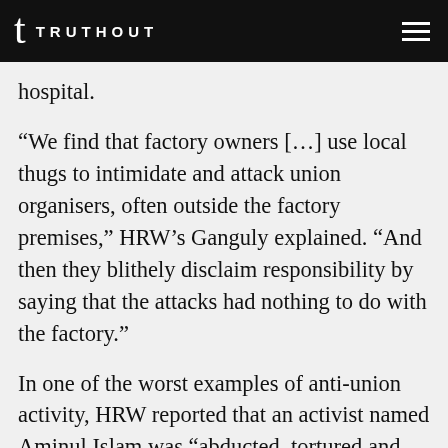TRUTHOUT
hospital.
“We find that factory owners […] use local thugs to intimidate and attack union organisers, often outside the factory premises,” HRW’s Ganguly explained. “And then they blithely disclaim responsibility by saying that the attacks had nothing to do with the factory.”
In one of the worst examples of anti-union activity, HRW reported that an activist named Aminul Islam was “abducted, tortured and killed